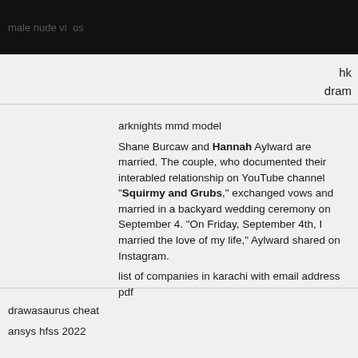male nude videos
hk
dram
arknights mmd model
Shane Burcaw and Hannah Aylward are married. The couple, who documented their interabled relationship on YouTube channel "Squirmy and Grubs," exchanged vows and married in a backyard wedding ceremony on September 4. "On Friday, September 4th, I married the love of my life," Aylward shared on Instagram.
list of companies in karachi with email address pdf
drawasaurus cheat
ansys hfss 2022